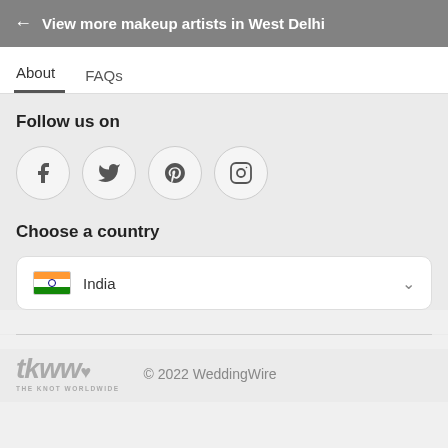← View more makeup artists in West Delhi
About   FAQs
Follow us on
[Figure (other): Social media icons: Facebook, Twitter, Pinterest, Instagram in circular grey bordered buttons]
Choose a country
India (dropdown)
tkww THE KNOT WORLDWIDE   © 2022 WeddingWire